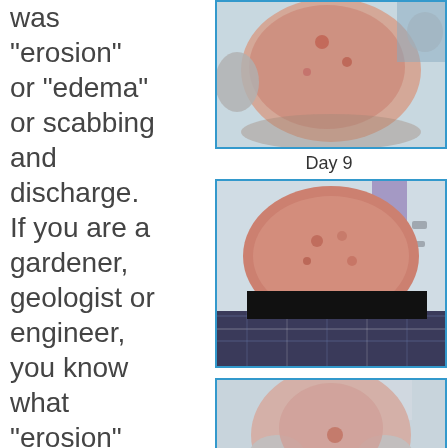was "erosion" or "edema" or scabbing and discharge. If you are a gardener, geologist or engineer, you know what "erosion" means to
[Figure (photo): Top view of a bald head showing red, irritated scalp with scabbing and skin lesions]
Day 9
[Figure (photo): Person bent over showing red, irritated bald scalp from above, wearing plaid shirt, face obscured by black bar]
[Figure (photo): Top-down view of person bent over showing bald head with remaining hair on sides, wearing plaid shirt, bathroom background]